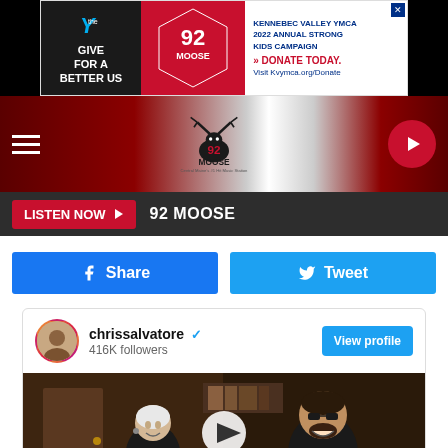[Figure (screenshot): YMCA advertisement banner: Kennebec Valley YMCA 2022 Annual Strong Kids Campaign - GIVE FOR A BETTER US - DONATE TODAY. Visit Kvymca.org/Donate]
[Figure (logo): 92 Moose radio station navigation bar with hamburger menu, moose logo, and play button]
LISTEN NOW ▶ 92 MOOSE
Share
Tweet
[Figure (screenshot): Instagram embed card for chrissalvatore with 416K followers, View profile button, and video thumbnail showing two people]
chrissalvatore ✓ 416K followers View profile